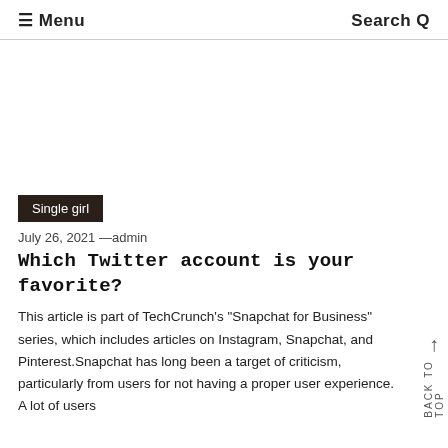≡ Menu   Search Q
[Figure (other): White advertisement/image area placeholder]
Single girl
July 26, 2021 —admin
Which Twitter account is your favorite?
This article is part of TechCrunch's "Snapchat for Business" series, which includes articles on Instagram, Snapchat, and Pinterest.Snapchat has long been a target of criticism, particularly from users for not having a proper user experience. A lot of users